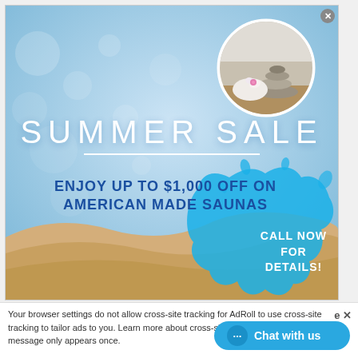[Figure (photo): Summer sale advertisement popup showing a beach background with bokeh light effects, a circular photo of spa stones with a white orchid flower in the top-right, large 'SUMMER SALE' text, 'ENJOY UP TO $1,000 OFF ON AMERICAN MADE SAUNAS' text, a blue water splash graphic with 'CALL NOW FOR DETAILS!' text, and sandy beach at the bottom.]
Your browser settings do not allow cross-site tracking for AdRoll to use cross-site tracking to tailor ads to you. Learn more about cross-site tracking by clicking here. This message only appears once.